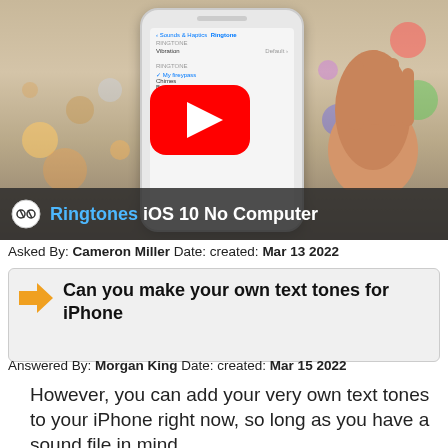[Figure (screenshot): YouTube video thumbnail showing an iPhone with ringtones settings screen, bokeh lights in background, a hand touching the screen. Overlay bar at bottom reads: Ringtones iOS 10 No Computer with YouTube play button and logo.]
Asked By: Cameron Miller Date: created: Mar 13 2022
Can you make your own text tones for iPhone
Answered By: Morgan King Date: created: Mar 15 2022
However, you can add your very own text tones to your iPhone right now, so long as you have a sound file in mind